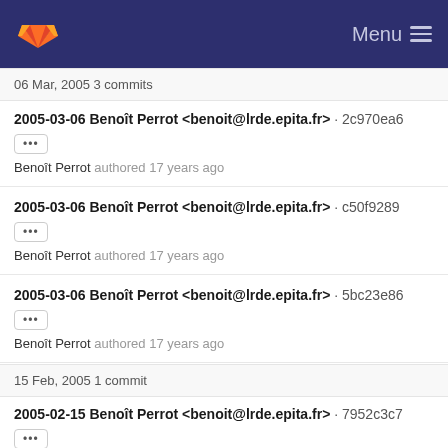GitLab Menu
06 Mar, 2005 3 commits
2005-03-06 Benoît Perrot <benoit@lrde.epita.fr> · 2c970ea6
Benoît Perrot authored 17 years ago
2005-03-06 Benoît Perrot <benoit@lrde.epita.fr> · c50f9289
Benoît Perrot authored 17 years ago
2005-03-06 Benoît Perrot <benoit@lrde.epita.fr> · 5bc23e86
Benoît Perrot authored 17 years ago
15 Feb, 2005 1 commit
2005-02-15 Benoît Perrot <benoit@lrde.epita.fr> · 7952c3c7
Benoît Perrot authored 17 years ago